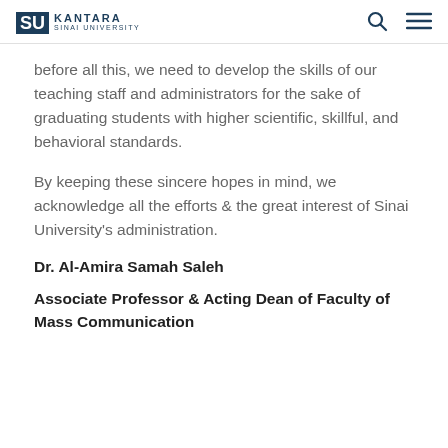SU KANTARA SINAI UNIVERSITY
before all this, we need to develop the skills of our teaching staff and administrators for the sake of graduating students with higher scientific, skillful, and behavioral standards.
By keeping these sincere hopes in mind, we acknowledge all the efforts & the great interest of Sinai University's administration.
Dr. Al-Amira Samah Saleh
Associate Professor & Acting Dean of Faculty of Mass Communication